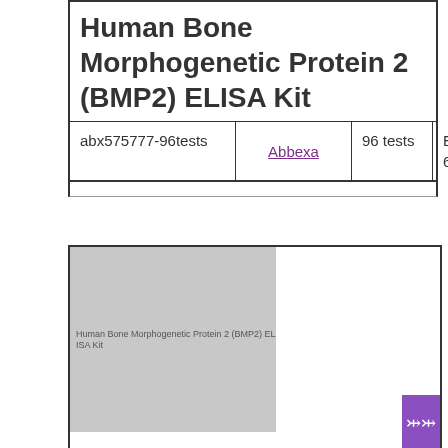Human Bone Morphogenetic Protein 2 (BMP2) ELISA Kit
|  |  | 96 tests | EUR 668 |
| --- | --- | --- | --- |
| abx575777-96tests | Abbexa | 96 tests | EUR 668 |
[Figure (photo): Product image placeholder for Human Bone Morphogenetic Protein 2 (BMP2) ELISA Kit, gray rectangle with partial text visible]
Human Bone Morphogenetic Protein 2